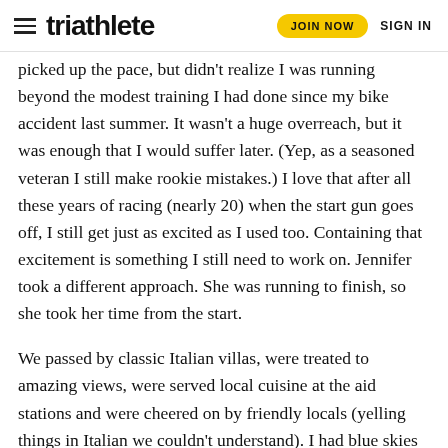triathlete | JOIN NOW | SIGN IN
picked up the pace, but didn't realize I was running beyond the modest training I had done since my bike accident last summer. It wasn't a huge overreach, but it was enough that I would suffer later. (Yep, as a seasoned veteran I still make rookie mistakes.) I love that after all these years of racing (nearly 20) when the start gun goes off, I still get just as excited as I used too. Containing that excitement is something I still need to work on. Jennifer took a different approach. She was running to finish, so she took her time from the start.
We passed by classic Italian villas, were treated to amazing views, were served local cuisine at the aid stations and were cheered on by friendly locals (yelling things in Italian we couldn't understand). I had blue skies and sunshine for 20K,
but the next 10K went downhill fast; both in terrain and my condition. The downhills started hurting. Then, the uphills hurt.